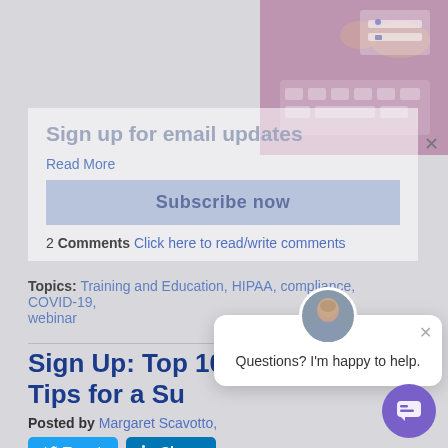[Figure (photo): Partial view of hands typing on a keyboard with pink/purple overlay, top-right corner]
Sign up for email updates
Read More
Subscribe now
2 Comments Click here to read/write comments
Topics: Training and Education, HIPAA, compliance, COVID-19, webinar
Sign Up: Top 10 Compliance Tips for a Su…
Posted by Margaret Scavotto,
Tweet Share Like 0 Share
[Figure (photo): Chat popup with avatar photo of a woman and text 'Questions? I'm happy to help.']